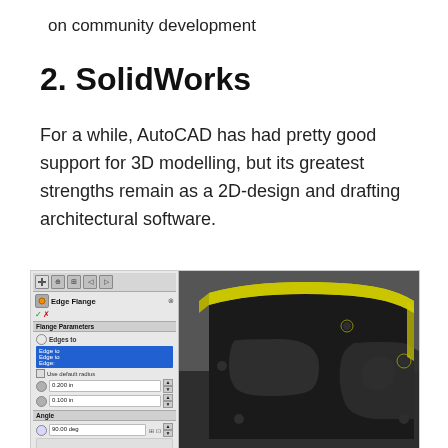on community development
2. SolidWorks
For a while, AutoCAD has had pretty good support for 3D modelling, but its greatest strengths remain as a 2D-design and drafting architectural software.
[Figure (screenshot): SolidWorks CAD application screenshot showing the Edge Flange panel UI on the left and a 3D model of a dark metal bracket/plate with yellow highlighted edges on the right, including a DFM Xsheet overlay label at the top.]